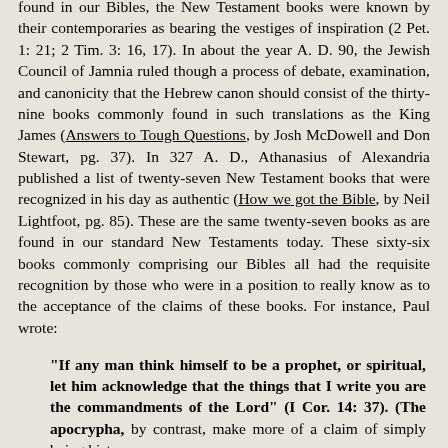found in our Bibles, the New Testament books were known by their contemporaries as bearing the vestiges of inspiration (2 Pet. 1: 21; 2 Tim. 3: 16, 17). In about the year A. D. 90, the Jewish Council of Jamnia ruled though a process of debate, examination, and canonicity that the Hebrew canon should consist of the thirty-nine books commonly found in such translations as the King James (Answers to Tough Questions, by Josh McDowell and Don Stewart, pg. 37). In 327 A. D., Athanasius of Alexandria published a list of twenty-seven New Testament books that were recognized in his day as authentic (How we got the Bible, by Neil Lightfoot, pg. 85). These are the same twenty-seven books as are found in our standard New Testaments today. These sixty-six books commonly comprising our Bibles all had the requisite recognition by those who were in a position to really know as to the acceptance of the claims of these books. For instance, Paul wrote:
"If any man think himself to be a prophet, or spiritual, let him acknowledge that the things that I write you are the commandments of the Lord" (I Cor. 14: 37). (The apocrypha, by contrast, make more of a claim of simply being history,